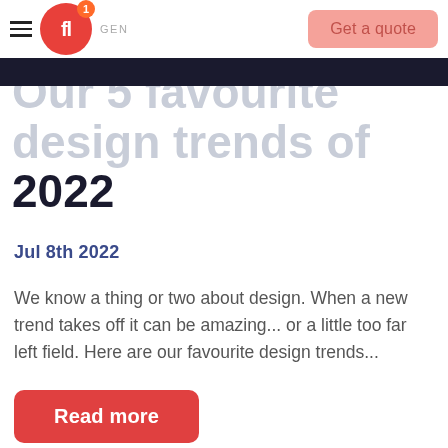GENERAL
Our 5 favourite design trends of 2022
Jul 8th 2022
We know a thing or two about design. When a new trend takes off it can be amazing... or a little too far left field. Here are our favourite design trends...
Read more